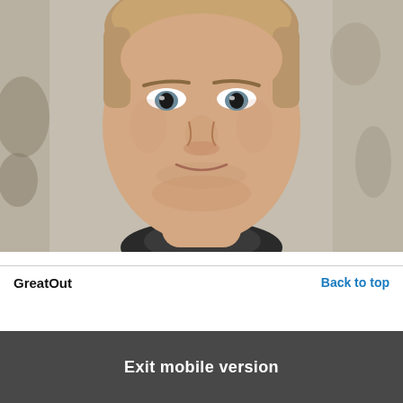[Figure (photo): Close-up portrait photo of a young man with short blonde hair, light stubble, and a slight smile, wearing a dark jacket, against a textured worn wall background.]
GreatOut
Back to top
Exit mobile version